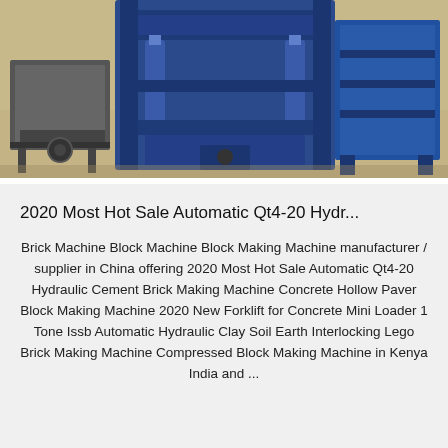[Figure (photo): Industrial blue brick/block making machine in a factory floor setting, with concrete floor visible]
2020 Most Hot Sale Automatic Qt4-20 Hydr...
Brick Machine Block Machine Block Making Machine manufacturer / supplier in China offering 2020 Most Hot Sale Automatic Qt4-20 Hydraulic Cement Brick Making Machine Concrete Hollow Paver Block Making Machine 2020 New Forklift for Concrete Mini Loader 1 Tone Issb Automatic Hydraulic Clay Soil Earth Interlocking Lego Brick Making Machine Compressed Block Making Machine in Kenya India and ...